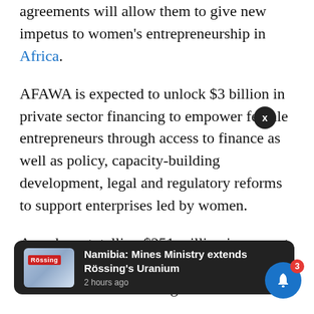agreements will allow them to give new impetus to women's entrepreneurship in Africa.
AFAWA is expected to unlock $3 billion in private sector financing to empower female entrepreneurs through access to finance as well as policy, capacity-building development, legal and regulatory reforms to support enterprises led by women.
A package totalling $251 million in support of AFAWA was approved by G7 during the summit in Biarritz in August.
Signing on behalf of Ecobank, Joséphine Anan-Ankomah, CEO of Ecobank Group, gave assurance that [Ecobank would] adopt its
[Figure (screenshot): Push notification overlay showing 'Namibia: Mines Ministry extends Rössing's Uranium' posted 2 hours ago, with thumbnail image of a sign, on a dark rounded rectangle background. A blue bell icon with red badge showing '3' is in the bottom right corner.]